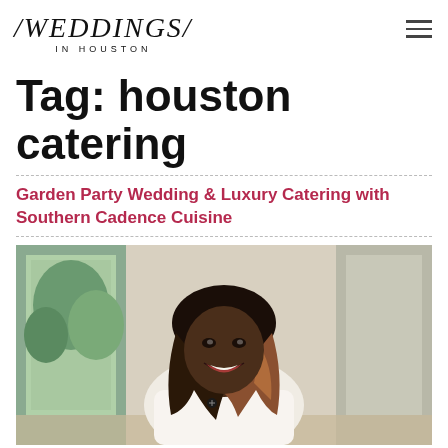/WEDDINGS/ IN HOUSTON
Tag: houston catering
Garden Party Wedding & Luxury Catering with Southern Cadence Cuisine
[Figure (photo): A smiling woman with long brown hair, wearing a white top with a small brooch, seated at a table in what appears to be a bright indoor/outdoor venue with greenery visible through windows in the background.]